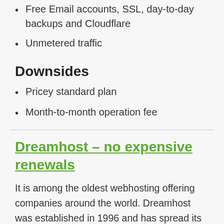Free Email accounts, SSL, day-to-day backups and Cloudflare
Unmetered traffic
Downsides
Pricey standard plan
Month-to-month operation fee
Dreamhost – no expensive renewals
It is among the oldest webhosting offering companies around the world. Dreamhost was established in 1996 and has spread its operations to over 100 nations hosting